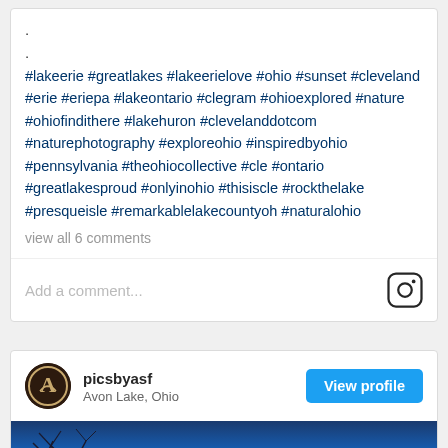.
.
#lakeerie #greatlakes #lakeerielove #ohio #sunset #cleveland #erie #eriepa #lakeontario #clegram #ohioexplored #nature #ohiofindithere #lakehuron #clevelanddotcom #naturephotography #exploreohio #inspiredbyohio #pennsylvania #theohiocollective #cle #ontario #greatlakesproud #onlyinohio #thisiscle #rockthelake #presqueisle #remarkablelakecountyoh #naturalohio
view all 6 comments
Add a comment...
picsbyasf
Avon Lake, Ohio
[Figure (photo): Blue winter night sky with frosted bare tree branches silhouette]